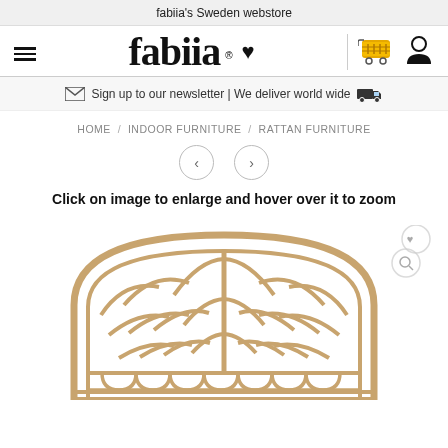fabiia's Sweden webstore
[Figure (logo): fabiia logo with hamburger menu icon, heart icon, cart icon, and user icon]
Sign up to our newsletter | We deliver world wide
HOME / INDOOR FURNITURE / RATTAN FURNITURE
Click on image to enlarge and hover over it to zoom
[Figure (photo): Rattan headboard with decorative tree/fan pattern in natural beige/tan color, showing arched top and detailed woven rattan work]